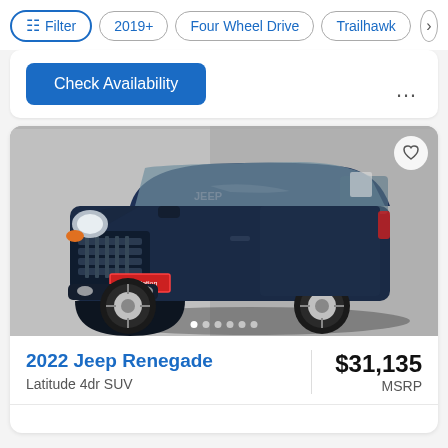Filter | 2019+ | Four Wheel Drive | Trailhawk
[Figure (screenshot): AutoNation car listing page showing a dark navy blue 2022 Jeep Renegade Latitude 4dr SUV with filter chips at top, a Check Availability button, a car photo, and price of $31,135 MSRP]
Check Availability
2022 Jeep Renegade
Latitude 4dr SUV
$31,135
MSRP